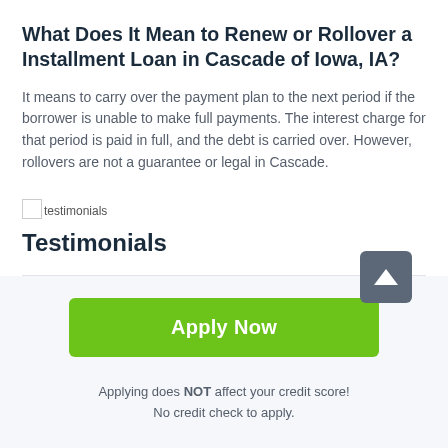What Does It Mean to Renew or Rollover a Installment Loan in Cascade of Iowa, IA?
It means to carry over the payment plan to the next period if the borrower is unable to make full payments. The interest charge for that period is paid in full, and the debt is carried over. However, rollovers are not a guarantee or legal in Cascade.
[Figure (photo): Broken image placeholder labeled 'testimonials']
Testimonials
Apply Now
Applying does NOT affect your credit score! No credit check to apply.